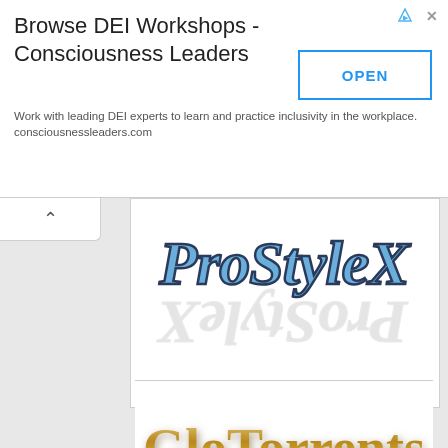[Figure (screenshot): Advertisement banner for DEI Workshops - Consciousness Leaders with OPEN button]
Browse DEI Workshops - Consciousness Leaders
Work with leading DEI experts to learn and practice inclusivity in the workplace. consciousnessleaders.com
[Figure (logo): ProStyleX logo with blue serif italic text and mirror reflection]
[Figure (logo): GloTorrents logo with gold metallic serif text]